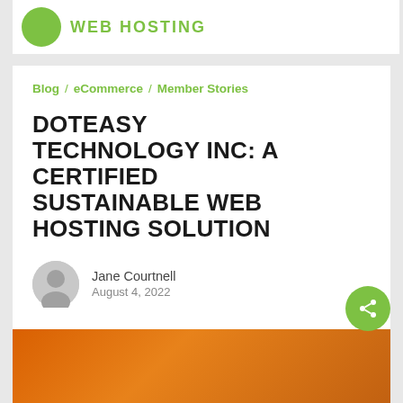WEB HOSTING
Blog  eCommerce  Member Stories
DOTEASY TECHNOLOGY INC: A CERTIFIED SUSTAINABLE WEB HOSTING SOLUTION
Jane Courtnell
August 4, 2022
[Figure (photo): Orange-tinted photo at the bottom of the page showing people in a working environment]